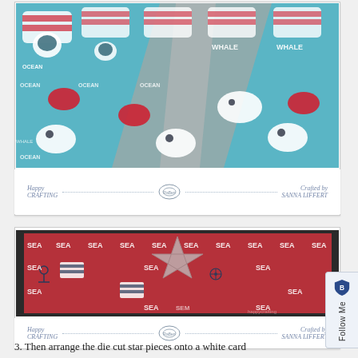[Figure (photo): Craft project photo showing a nautical-themed paper with whale and ocean patterns in teal/blue, with a large letter cut-out placed on top. Footer shows 'Happy CRAFTING' on left, a logo in center, and 'Crafted by SANNA LIFFERT' on right with dotted lines.]
[Figure (photo): Craft project photo showing a red nautical-themed paper with 'SEA' text and anchor/ship wheel patterns, with a silver metallic star die-cut shape arranged on top. Footer shows 'Happy CRAFTING' on left, a logo in center, and 'Crafted by SANNA LIFFERT' on right with dotted lines.]
3. Then arrange the die cut star pieces onto a white card